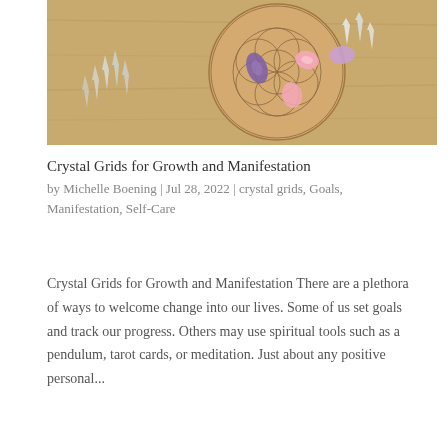[Figure (photo): Overhead photo of a wooden circular board engraved with the Flower of Life sacred geometry pattern, with various crystals and gemstones placed on and around it, including rose quartz, amethyst, and clear quartz points, on a wooden surface.]
Crystal Grids for Growth and Manifestation
by Michelle Boening | Jul 28, 2022 | crystal grids, Goals, Manifestation, Self-Care
Crystal Grids for Growth and Manifestation There are a plethora of ways to welcome change into our lives. Some of us set goals and track our progress. Others may use spiritual tools such as a pendulum, tarot cards, or meditation. Just about any positive personal...